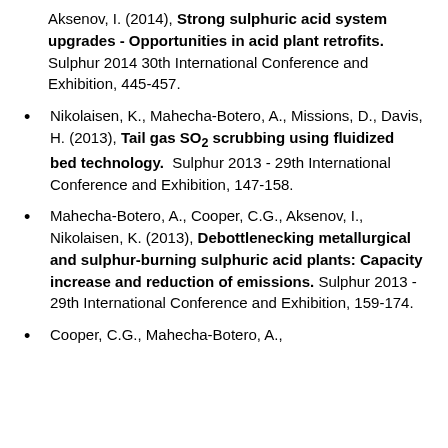Aksenov, I. (2014), Strong sulphuric acid system upgrades - Opportunities in acid plant retrofits. Sulphur 2014 30th International Conference and Exhibition, 445-457.
Nikolaisen, K., Mahecha-Botero, A., Missions, D., Davis, H. (2013), Tail gas SO2 scrubbing using fluidized bed technology. Sulphur 2013 - 29th International Conference and Exhibition, 147-158.
Mahecha-Botero, A., Cooper, C.G., Aksenov, I., Nikolaisen, K. (2013), Debottlenecking metallurgical and sulphur-burning sulphuric acid plants: Capacity increase and reduction of emissions. Sulphur 2013 - 29th International Conference and Exhibition, 159-174.
Cooper, C.G., Mahecha-Botero, A.,